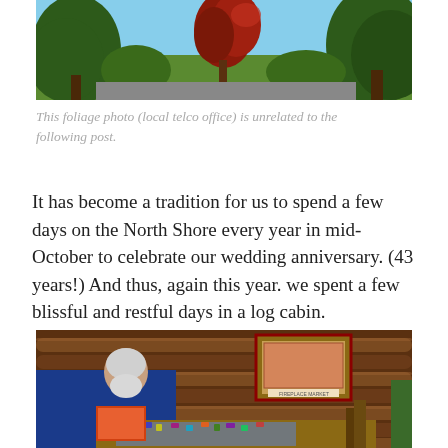[Figure (photo): Outdoor foliage photo showing trees with green and red/autumn leaves against a bright sky, at a local telco office]
This foliage photo (local telco office) is unrelated to the following post.
It has become a tradition for us to spend a few days on the North Shore every year in mid-October to celebrate our wedding anniversary. (43 years!) And thus, again this year. we spent a few blissful and restful days in a log cabin.
[Figure (photo): Indoor photo of a person in a blue hoodie working on a jigsaw puzzle on a table inside a log cabin, with wooden log walls and a framed puzzle box image on the wall]